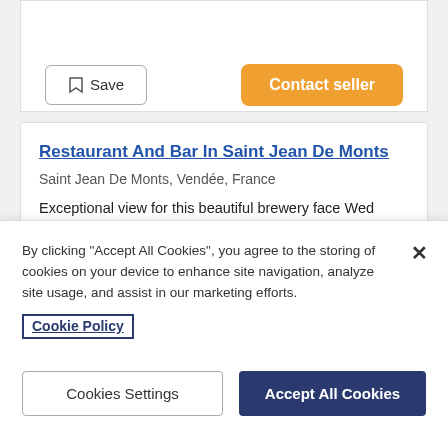[Figure (screenshot): Top portion of a listing card with empty/truncated content lines and a horizontal divider]
[Figure (screenshot): Row with Save button (bookmark icon) and orange Contact seller button]
Restaurant And Bar In Saint Jean De Monts
Saint Jean De Monts, Vendée, France
Exceptional view for this beautiful brewery face Wed open six months of the year offering high scalability Case. Number of indoor space for 100 people and two private terrace of 30 seats. Possibility... More details »
By clicking "Accept All Cookies", you agree to the storing of cookies on your device to enhance site navigation, analyze site usage, and assist in our marketing efforts.
Cookie Policy
Cookies Settings
Accept All Cookies